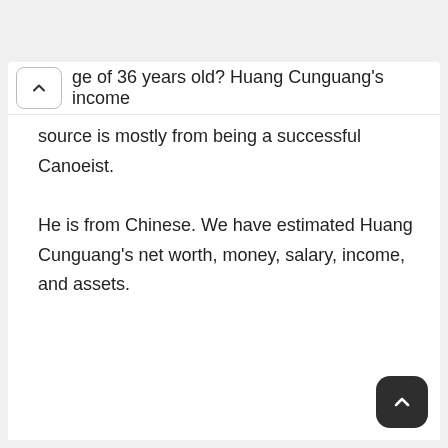ge of 36 years old? Huang Cunguang's income source is mostly from being a successful Canoeist. He is from Chinese. We have estimated Huang Cunguang's net worth, money, salary, income, and assets.
ge of 36 years old? Huang Cunguang's income source is mostly from being a successful Canoeist. He is from Chinese. We have estimated Huang Cunguang's net worth, money, salary, income, and assets.